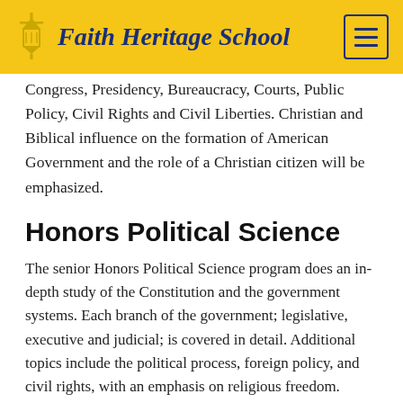Faith Heritage School
Congress, Presidency, Bureaucracy, Courts, Public Policy, Civil Rights and Civil Liberties. Christian and Biblical influence on the formation of American Government and the role of a Christian citizen will be emphasized.
Honors Political Science
The senior Honors Political Science program does an in-depth study of the Constitution and the government systems. Each branch of the government; legislative, executive and judicial; is covered in detail. Additional topics include the political process, foreign policy, and civil rights, with an emphasis on religious freedom. Students are expected to write a major position paper, do a book review from the reading list, and complete a project with encouragement to do a participatory project. The great political philosophers of history are studied. Emphasis is